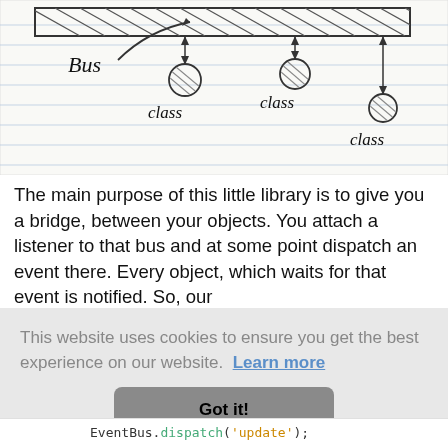[Figure (illustration): Hand-drawn sketch on lined notebook paper showing a bus (horizontal hatched bar at top) with arrows and three circles labeled 'class' connected by arrows indicating event dispatch from bus to classes.]
The main purpose of this little library is to give you a bridge, between your objects. You attach a listener to that bus and at some point dispatch an event there. Every object, which waits for that event is notified. So, our
This website uses cookies to ensure you get the best experience on our website. Learn more
Got it!
EventBus.dispatch('update');